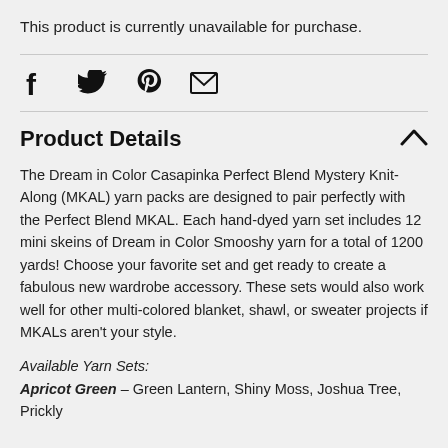This product is currently unavailable for purchase.
[Figure (other): Social media icons: Facebook, Twitter, Pinterest, Email]
Product Details
The Dream in Color Casapinka Perfect Blend Mystery Knit-Along (MKAL) yarn packs are designed to pair perfectly with the Perfect Blend MKAL. Each hand-dyed yarn set includes 12 mini skeins of Dream in Color Smooshy yarn for a total of 1200 yards! Choose your favorite set and get ready to create a fabulous new wardrobe accessory. These sets would also work well for other multi-colored blanket, shawl, or sweater projects if MKALs aren't your style.
Available Yarn Sets:
Apricot Green – Green Lantern, Shiny Moss, Joshua Tree, Prickly